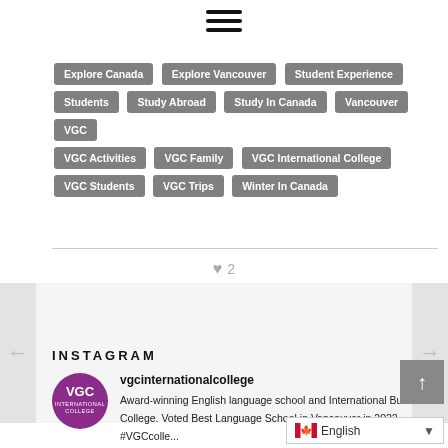[Figure (other): Hamburger menu icon (three horizontal lines)]
Explore Canada
Explore Vancouver
Student Experience
Students
Study Abroad
Study In Canada
Vancouver
VGC
VGC Activities
VGC Family
VGC International College
VGC Students
VGC Trips
Winter In Canada
♥ 2
[Figure (other): Slideshow/gallery area with left and right navigation arrows, light gray background]
INSTAGRAM
[Figure (logo): VGC International College circular purple logo]
vgcinternationalcollege
Award-winning English language school and International Business College. Voted Best Language School in Vancouver in 2022 #VGCcolle...
[Figure (other): Language selector overlay showing Canadian flag and 'English' text with dropdown arrow]
[Figure (other): Scroll to top button, dark gray with upward arrow]